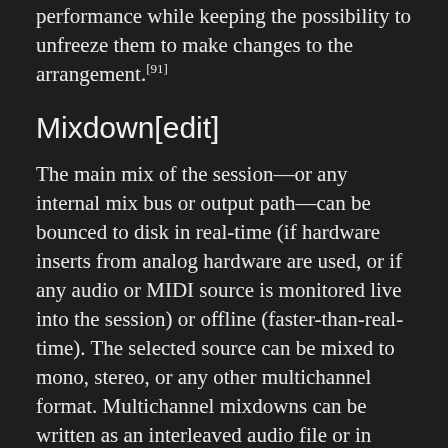performance while keeping the possibility to unfreeze them to make changes to the arrangement.[91]
Mixdown[edit]
The main mix of the session—or any internal mix bus or output path—can be bounced to disk in real-time (if hardware inserts from analog hardware are used, or if any audio or MIDI source is monitored live into the session) or offline (faster-than-real-time). The selected source can be mixed to mono, stereo, or any other multichannel format. Multichannel mixdowns can be written as an interleaved audio file or in multiple mono files. Up to 24 sources of up to 10 channels each can be mixed down simultaneously—for example, to deliver audio stems.
Audio and video can be bounced together to a MOV file; video is transcoded with the Pro tools crack 2019 - Free